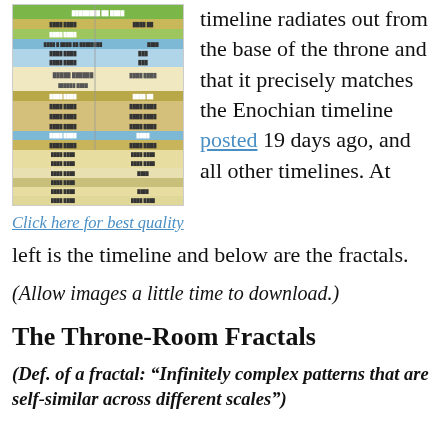[Figure (table-as-image): A colorful timeline chart with multiple horizontal colored rows (green, yellow, blue, tan) representing different time periods, with small text labels.]
Click here for best quality
timeline radiates out from the base of the throne and that it precisely matches the Enochian timeline posted 19 days ago, and all other timelines. At left is the timeline and below are the fractals.
(Allow images a little time to download.)
The Throne-Room Fractals
(Def. of a fractal: “Infinitely complex patterns that are self-similar across different scales”)